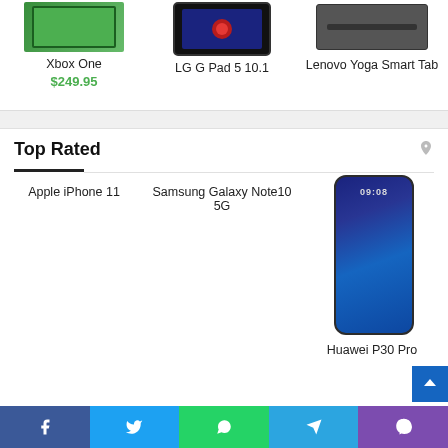[Figure (screenshot): Product listing row showing Xbox One (green box, $249.95), LG G Pad 5 10.1 (tablet), and Lenovo Yoga Smart Tab (tablet) product cards at top]
Xbox One
$249.95
LG G Pad 5 10.1
Lenovo Yoga Smart Tab
Top Rated
Apple iPhone 11
Samsung Galaxy Note10 5G
[Figure (photo): Huawei P30 Pro smartphone with blue gradient screen showing 09:08]
Huawei P30 Pro
[Figure (infographic): Social sharing bar with Facebook, Twitter, WhatsApp, Telegram, and Viber icons]